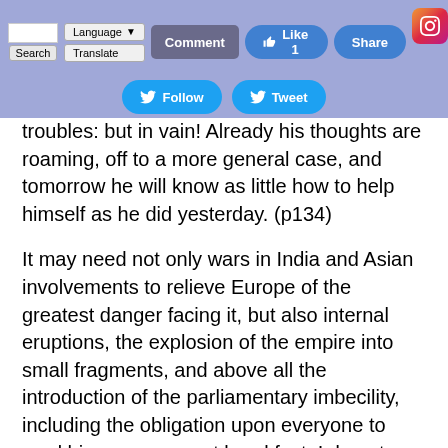[Figure (screenshot): Social media toolbar with Search, Language/Translate, Comment, Like 1, Share buttons and Twitter Follow/Tweet buttons and Instagram/Pinterest Save/Geoff buttons on a purple-blue background]
troubles: but in vain! Already his thoughts are roaming, off to a more general case, and tomorrow he will know as little how to help himself as he did yesterday. (p134)
It may need not only wars in India and Asian involvements to relieve Europe of the greatest danger facing it, but also internal eruptions, the explosion of the empire into small fragments, and above all the introduction of the parliamentary imbecility, including the obligation upon everyone to read his newspaper at breakfast. I do not say this because I desire it: the reverse would be more after my own heart- I mean such an increase in the Russian threat that Europe would have to resolve to become equally threatening, namely to acquire a